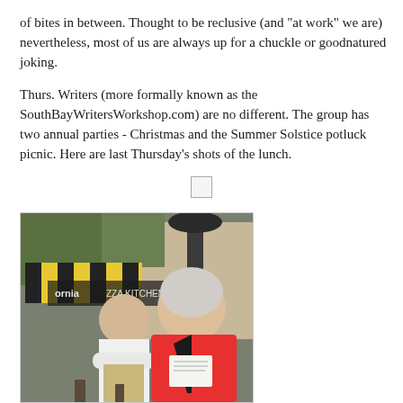of bites in between. Thought to be reclusive (and "at work" we are) nevertheless, most of us are always up for a chuckle or goodnatured joking.
Thurs. Writers (more formally known as the SouthBayWritersWorkshop.com) are no different.  The group has two annual parties - Christmas and the Summer Solstice potluck picnic.  Here are last Thursday's shots of the lunch.
[Figure (photo): Two people at an outdoor restaurant setting. In the foreground, an older person with white/grey hair wearing a bright red/coral jacket is reading papers. In the background, a man in a white shirt sits with arms crossed, smiling. Yellow and black striped umbrellas and California Pizza Kitchen signage visible in the background.]